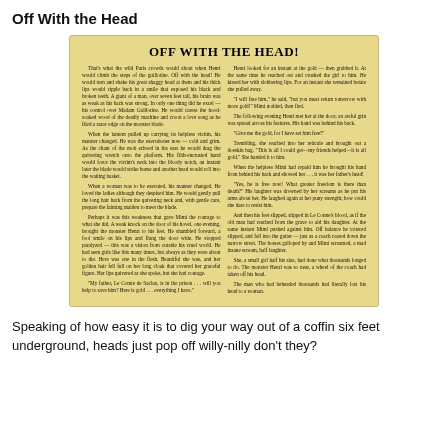Off With the Head
[Figure (other): Scanned yellowed newspaper/magazine article with title 'OFF WITH THE HEAD!' and two columns of text about a guillotine executioner named Henri.]
Speaking of how easy it is to dig your way out of a coffin six feet underground, heads just pop off willy-nilly don't they?